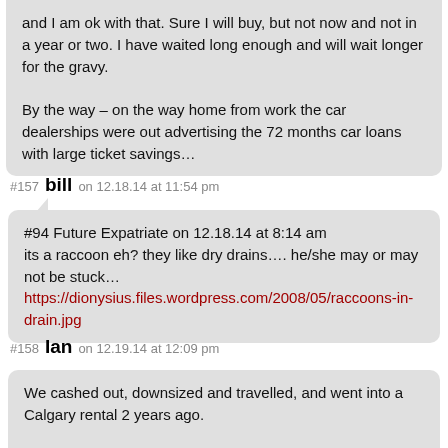and I am ok with that. Sure I will buy, but not now and not in a year or two. I have waited long enough and will wait longer for the gravy.

By the way – on the way home from work the car dealerships were out advertising the 72 months car loans with large ticket savings…
#157  bill  on 12.18.14 at 11:54 pm
#94 Future Expatriate on 12.18.14 at 8:14 am
its a raccoon eh? they like dry drains…. he/she may or may not be stuck…
https://dionysius.files.wordpress.com/2008/05/raccoons-in-drain.jpg
#158  Ian  on 12.19.14 at 12:09 pm
We cashed out, downsized and travelled, and went into a Calgary rental 2 years ago.

Started to look again in this past summer and stopped.

Condo's seem overpriced in comparison to rent. Houses… being sold the